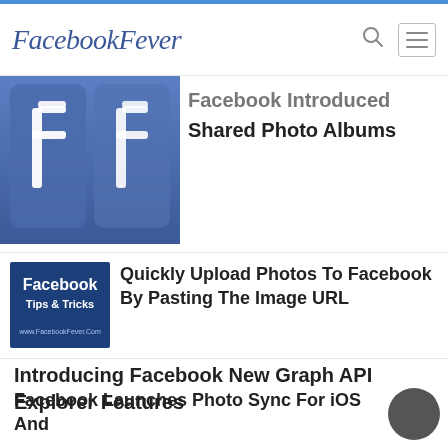FacebookFever
[Figure (screenshot): Two Facebook 'f' logo icons side by side on a blue gradient background]
Facebook Introduced Shared Photo Albums
[Figure (logo): Facebook Tips & Tricks logo with blue background and www.FacebookFever.Com url]
Quickly Upload Photos To Facebook By Pasting The Image URL
Introducing Facebook New Graph API Explorer Features
Facebook Launches Photo Sync For iOS And